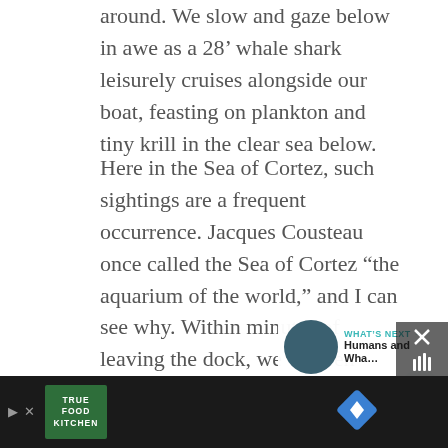around. We slow and gaze below in awe as a 28’ whale shark leisurely cruises alongside our boat, feasting on plankton and tiny krill in the clear sea below.
Here in the Sea of Cortez, such sightings are a frequent occurrence. Jacques Cousteau once called the Sea of Cortez “the aquarium of the world,” and I can see why. Within minutes of leaving the dock, we’ve seen humpback whales and dolphins – and now this whale shark below.
[Figure (screenshot): UI buttons: teal heart/favorite button and grey share button on right side]
[Figure (screenshot): What's Next panel with thumbnail image, label 'WHAT'S NEXT ->' and title 'Humans and Wha...']
[Figure (screenshot): Advertisement bar at bottom: dark background with True Food Kitchen logo on left and blue diamond navigation icon on right, with play and close buttons]